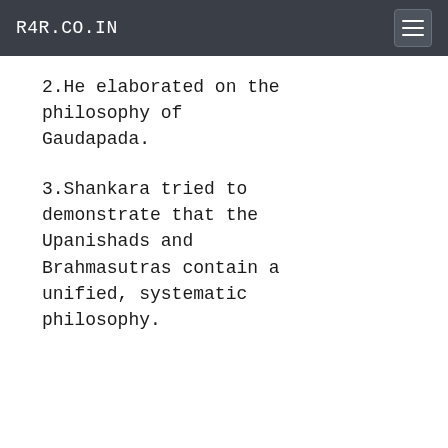R4R.CO.IN
2.He elaborated on the philosophy of Gaudapada.
3.Shankara tried to demonstrate that the Upanishads and Brahmasutras contain a unified, systematic philosophy.